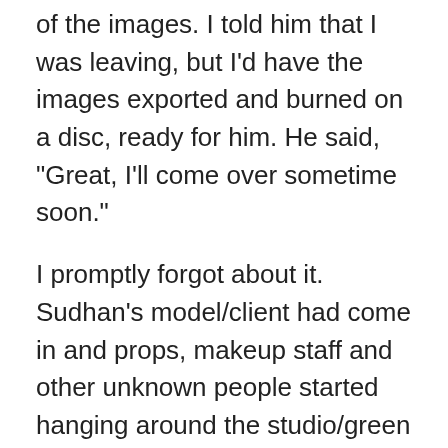of the images. I told him that I was leaving, but I'd have the images exported and burned on a disc, ready for him. He said, "Great, I'll come over sometime soon."
I promptly forgot about it. Sudhan's model/client had come in and props, makeup staff and other unknown people started hanging around the studio/green room. Rajasekar's little mission was also getting interesting by then. He came in, and said Hi to Sudhan, then came over to my desk, I was a but busy so I told him to chat with Sudhan and that I'd be over with them in a few moments. They went out and started arranging the model's costumes, and props.
When I was done with my work for that evening, I went over to see what was happening in the studio. Rajasekar was looking at Sudhan's camera and lens … ooohing and aaahing over it (he's wanted to buy a Digital SLR for a long